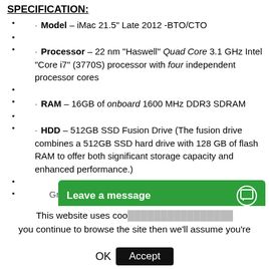SPECIFICATION:
Model – iMac 21.5" Late 2012 -BTO/CTO
Processor – 22 nm "Haswell" Quad Core 3.1 GHz Intel "Core i7" (3770S) processor with four independent processor cores
RAM – 16GB of onboard 1600 MHz DDR3 SDRAM
HDD – 512GB SSD Fusion Drive (The fusion drive combines a 512GB SSD hard drive with 128 GB of flash RAM to offer both significant storage capacity and enhanced performance.)
Graphics - NV...
This website uses coo... you continue to browse the site then we'll assume you're
Leave a message
OK  Accept